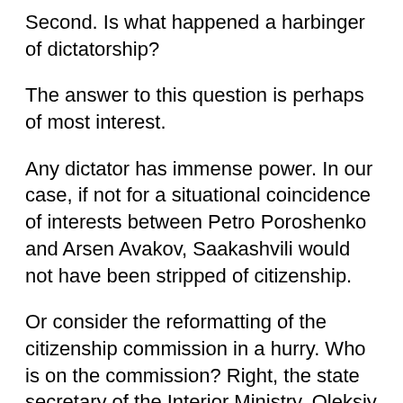Second. Is what happened a harbinger of dictatorship?
The answer to this question is perhaps of most interest.
Any dictator has immense power. In our case, if not for a situational coincidence of interests between Petro Poroshenko and Arsen Avakov, Saakashvili would not have been stripped of citizenship.
Or consider the reformatting of the citizenship commission in a hurry. Who is on the commission? Right, the state secretary of the Interior Ministry, Oleksiy Takhtay (Avakov's right hand), the recently-appointed deputy head of the Security Service of Ukraine (SBU), Viktor Kononenko (better known in some narrow circles as Latvsh, or Latvian, because of